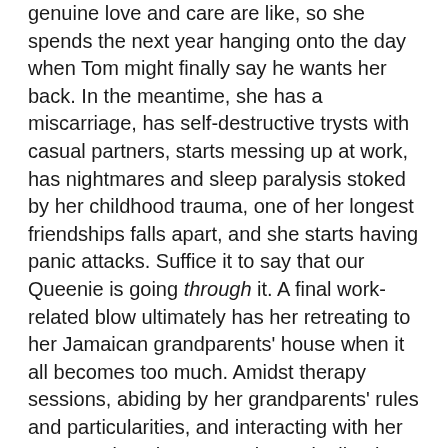genuine love and care are like, so she spends the next year hanging onto the day when Tom might finally say he wants her back. In the meantime, she has a miscarriage, has self-destructive trysts with casual partners, starts messing up at work, has nightmares and sleep paralysis stoked by her childhood trauma, one of her longest friendships falls apart, and she starts having panic attacks. Suffice it to say that our Queenie is going through it. A final work-related blow ultimately has her retreating to her Jamaican grandparents' house when it all becomes too much. Amidst therapy sessions, abiding by her grandparents' rules and particularities, and interacting with her estranged mother, Queenie gradually tries to put her life back together again.
This wasn't a novel that I absolutely loved; like on a Goodreads scale of 1 to 5 starts, I gave it a solid 4 ("really liked it"). But I was willing to go over this story twice in such quick succession because I saw so much of myself in Queenie. I'm sure that was part of Candice Carty-Williams's aim in writing it. At times it's dark, sometimes it gets awkward, a lot of the time it's disarmingly funny, and all of the time it is vulnerable and honest. If you are a Black woman, love and care about Black women, have ever